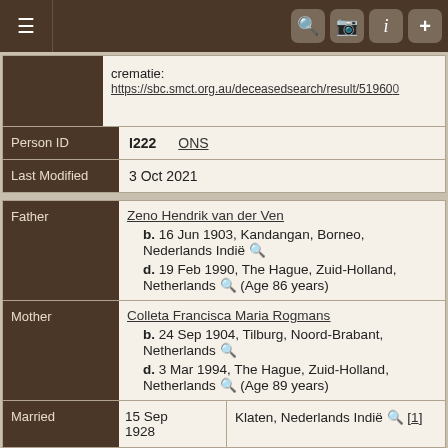Navigation bar with hamburger menu and icons
crematie:
https://sbc.smct.org.au/deceasedsearch/result/519600
| Field | Value1 | Value2 |
| --- | --- | --- |
| Person ID | I222 | ONS |
| Last Modified | 3 Oct 2021 |  |
| Role | Details |
| --- | --- |
| Father | Zeno Hendrik van der Ven
b. 16 Jun 1903, Kandangan, Borneo, Nederlands Indië
d. 19 Feb 1990, The Hague, Zuid-Holland, Netherlands (Age 86 years) |
| Mother | Colleta Francisca Maria Rogmans
b. 24 Sep 1904, Tilburg, Noord-Brabant, Netherlands
d. 3 Mar 1994, The Hague, Zuid-Holland, Netherlands (Age 89 years) |
| Married | 15 Sep 1928 | Klaten, Nederlands Indië [1] |
| Family ID | F164090 | Group Sheet, Family Chart |